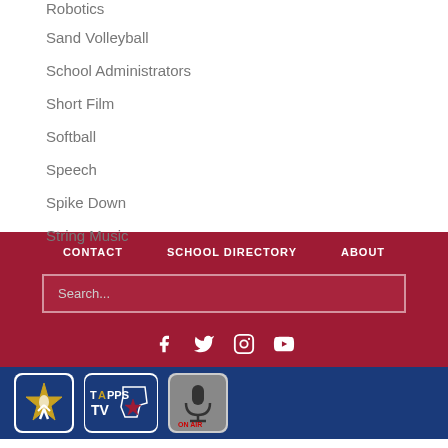Robotics
Sand Volleyball
School Administrators
Short Film
Softball
Speech
Spike Down
String Music
CONTACT | SCHOOL DIRECTORY | ABOUT
[Figure (screenshot): Search input field with placeholder 'Search...' on dark red background]
[Figure (infographic): Social media icons: Facebook, Twitter, Instagram, YouTube in white on dark red background]
[Figure (logo): Blue footer bar with three logos: a star/athlete logo, TAPPS TV logo, and a microphone/podcast logo]